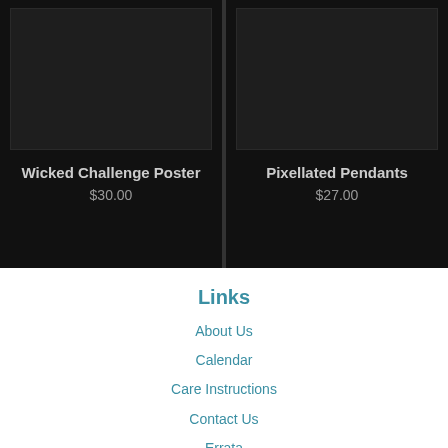[Figure (screenshot): Dark product card showing Wicked Challenge Poster image placeholder]
Wicked Challenge Poster
$30.00
[Figure (screenshot): Dark product card showing Pixellated Pendants image placeholder]
Pixellated Pendants
$27.00
Links
About Us
Calendar
Care Instructions
Contact Us
Errata